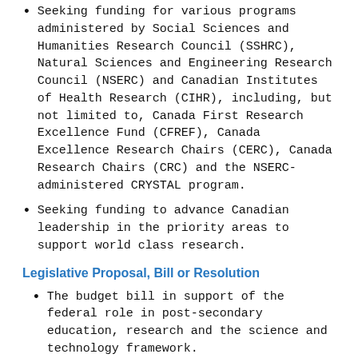Seeking funding for various programs administered by Social Sciences and Humanities Research Council (SSHRC), Natural Sciences and Engineering Research Council (NSERC) and Canadian Institutes of Health Research (CIHR), including, but not limited to, Canada First Research Excellence Fund (CFREF), Canada Excellence Research Chairs (CERC), Canada Research Chairs (CRC) and the NSERC-administered CRYSTAL program.
Seeking funding to advance Canadian leadership in the priority areas to support world class research.
Legislative Proposal, Bill or Resolution
The budget bill in support of the federal role in post-secondary education, research and the science and technology framework.